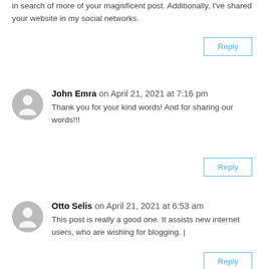in search of more of your magnificent post. Additionally, I've shared your website in my social networks.
Reply
John Emra on April 21, 2021 at 7:16 pm
Thank you for your kind words! And for sharing our words!!!
Reply
Otto Selis on April 21, 2021 at 6:53 am
This post is really a good one. It assists new internet users, who are wishing for blogging. |
Reply